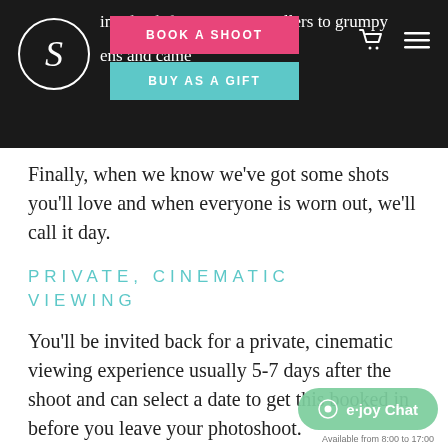Navigation bar with logo, BOOK A SHOOT button, BUY AS A GIFT button, cart and menu icons
involved, from s...llers to grumpy ens and came...
Finally, when we know we’ve got some shots you’ll love and when everyone is worn out, we’ll call it day.
PRIVATE, CINEMATIC VIEWING
You’ll be invited back for a private, cinematic viewing experience usually 5-7 days after the shoot and can select a date to get this booked in before you leave your photoshoot.
At your viewing, you can relax and enjoy some light refreshments as you go through all the